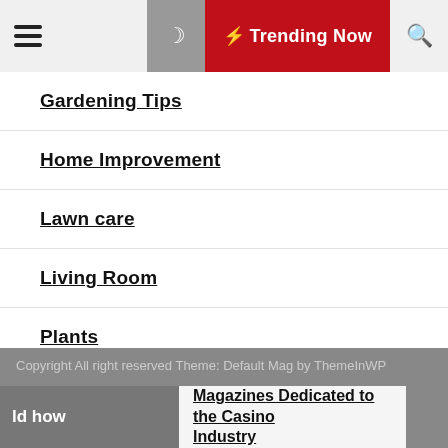☰  🌙  ⚡ Trending Now  🔍
Gardening Tips
Home Improvement
Lawn care
Living Room
Plants
Reviews
Copyright All right reserved Theme: Default Mag by ThemeInWP
ld how
Magazines Dedicated to the Casino Industry